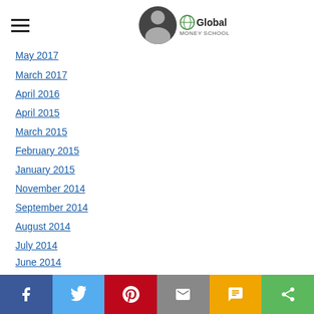Global Money School logo and navigation menu
May 2017 (partially visible)
March 2017
April 2016
April 2015
March 2015
February 2015
January 2015
November 2014
September 2014
August 2014
July 2014
June 2014
March 2014
January 2014
July 2013
March 2013
Share buttons: Facebook, Twitter, Pinterest, Email, SMS, Share